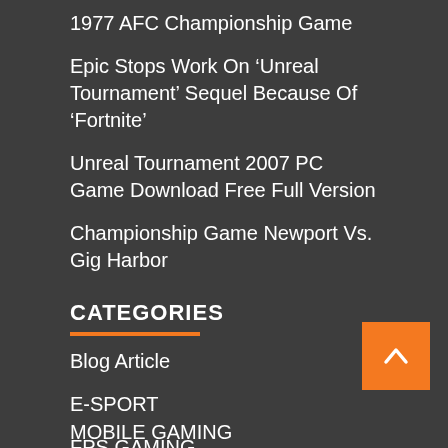1977 AFC Championship Game
Epic Stops Work On ‘Unreal Tournament’ Sequel Because Of ‘Fortnite’
Unreal Tournament 2007 PC Game Download Free Full Version
Championship Game Newport Vs. Gig Harbor
CATEGORIES
Blog Article
E-SPORT
FPS GAMING
MMORPG
MOBILE GAMING